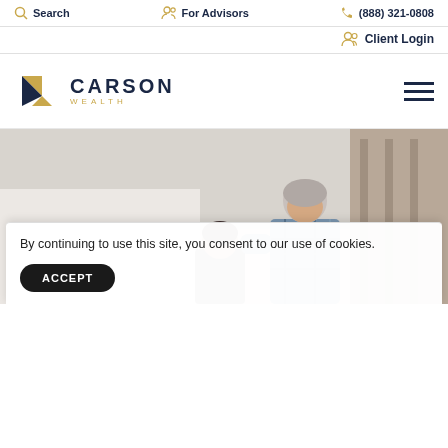Search  For Advisors  (888) 321-0808
Client Login
[Figure (logo): Carson Wealth logo with gold and navy K chevron mark and CARSON WEALTH wordmark]
[Figure (photo): Family photo: a man in a plaid shirt and a child outdoors, partially visible]
By continuing to use this site, you consent to our use of cookies.
ACCEPT